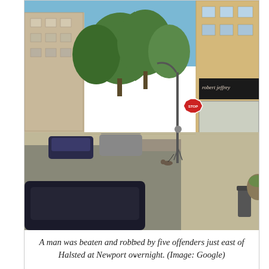[Figure (photo): Street view photo of intersection near Halsted and Newport Avenue in Chicago, showing a street corner with trees, buildings including a Robert Jeffrey store, a stop sign, parked cars, a person walking a dog, and a car in the foreground.]
A man was beaten and robbed by five offenders just east of Halsted at Newport overnight. (Image: Google)
Thursday
27 June 2013
1:47 AM
Chicago Police Department Case #HW337072
A man was beaten and robbed overnight by five offenders near Halsted Street and Newport Avenue. The offenders, described being black men with dread locks and dark skin, took